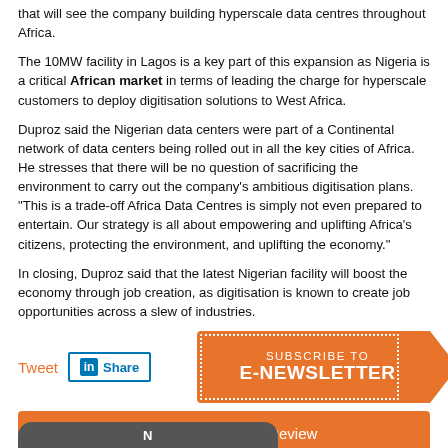that will see the company building hyperscale data centres throughout Africa.
The 10MW facility in Lagos is a key part of this expansion as Nigeria is a critical African market in terms of leading the charge for hyperscale customers to deploy digitisation solutions to West Africa.
Duproz said the Nigerian data centers were part of a Continental network of data centers being rolled out in all the key cities of Africa. He stresses that there will be no question of sacrificing the environment to carry out the company's ambitious digitisation plans. "This is a trade-off Africa Data Centres is simply not even prepared to entertain. Our strategy is all about empowering and uplifting Africa's citizens, protecting the environment, and uplifting the economy."
In closing, Duproz said that the latest Nigerian facility will boost the economy through job creation, as digitisation is known to create job opportunities across a slew of industries.
Tweet  Share
SUBSCRIBE TO E-NEWSLETTER
Subscribe to African Review